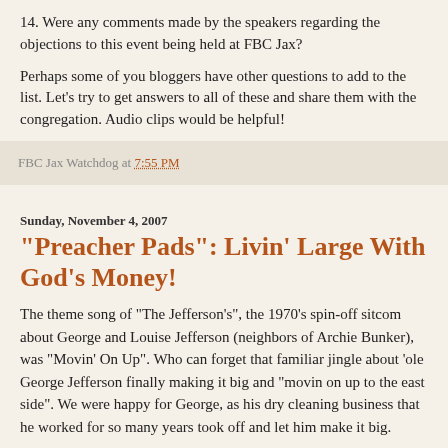14. Were any comments made by the speakers regarding the objections to this event being held at FBC Jax?
Perhaps some of you bloggers have other questions to add to the list. Let's try to get answers to all of these and share them with the congregation. Audio clips would be helpful!
FBC Jax Watchdog at 7:55 PM
Sunday, November 4, 2007
"Preacher Pads": Livin' Large With God's Money!
The theme song of "The Jefferson's", the 1970's spin-off sitcom about George and Louise Jefferson (neighbors of Archie Bunker), was "Movin' On Up". Who can forget that familiar jingle about 'ole George Jefferson finally making it big and "movin on up to the east side". We were happy for George, as his dry cleaning business that he worked for so many years took off and let him make it big.